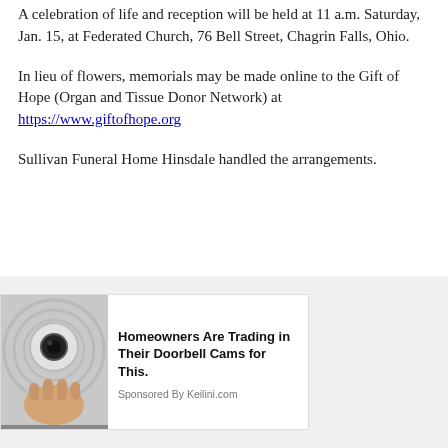A celebration of life and reception will be held at 11 a.m. Saturday, Jan. 15, at Federated Church, 76 Bell Street, Chagrin Falls, Ohio.
In lieu of flowers, memorials may be made online to the Gift of Hope (Organ and Tissue Donor Network) at https://www.giftofhope.org
Sullivan Funeral Home Hinsdale handled the arrangements.
[Figure (photo): Advertisement image showing a hand holding a security camera device, accompanying a sponsored ad for Keilini.com]
Homeowners Are Trading in Their Doorbell Cams for This.
Sponsored By Keilini.com